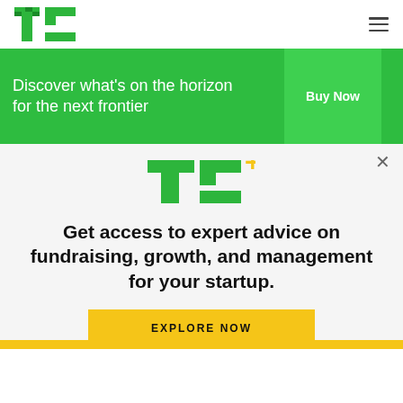TechCrunch logo and navigation menu
Discover what's on the horizon for the next frontier
Buy Now
[Figure (logo): TC+ logo in green with yellow plus sign]
Get access to expert advice on fundraising, growth, and management for your startup.
EXPLORE NOW